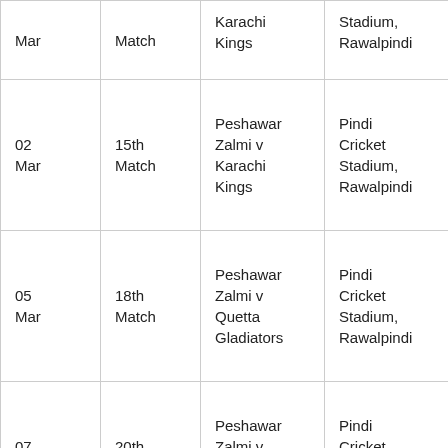| Mar | Match | Karachi Kings | Stadium, Rawalpindi |
| 02 Mar | 15th Match | Peshawar Zalmi v Karachi Kings | Pindi Cricket Stadium, Rawalpindi |
| 05 Mar | 18th Match | Peshawar Zalmi v Quetta Gladiators | Pindi Cricket Stadium, Rawalpindi |
| 07 Mar | 20th Match | Peshawar Zalmi v Islamabad United | Pindi Cricket Stadium, Rawalpindi |
|  |  | Multan | Pindi |